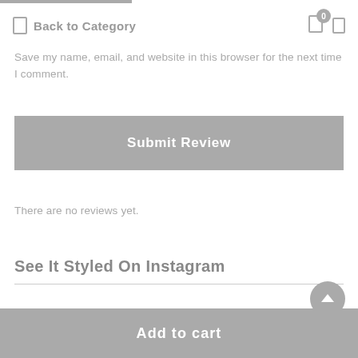Back to Category
Save my name, email, and website in this browser for the next time I comment.
Submit Review
There are no reviews yet.
See It Styled On Instagram
Add to cart